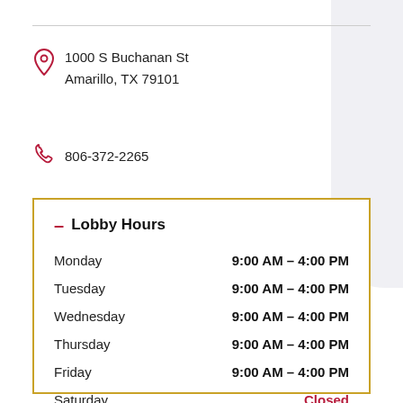1000 S Buchanan St
Amarillo, TX 79101
806-372-2265
| Day | Hours |
| --- | --- |
| Monday | 9:00 AM – 4:00 PM |
| Tuesday | 9:00 AM – 4:00 PM |
| Wednesday | 9:00 AM – 4:00 PM |
| Thursday | 9:00 AM – 4:00 PM |
| Friday | 9:00 AM – 4:00 PM |
| Saturday | Closed |